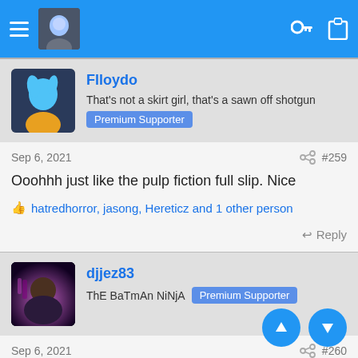Navigation bar with hamburger menu, avatar, key and clipboard icons
[Figure (photo): User avatar for Flloydo: animated character with blue hair]
Flloydo
That's not a skirt girl, that's a sawn off shotgun
Premium Supporter
Sep 6, 2021
#259
Ooohhh just like the pulp fiction full slip. Nice
hatredhorror, jasong, Hereticz and 1 other person
Reply
[Figure (photo): User avatar for djjez83: cyberpunk character with pink/blue lighting]
djjez83
ThE BaTmAn NiNjA  Premium Supporter
Sep 6, 2021
#260
Looks sexy